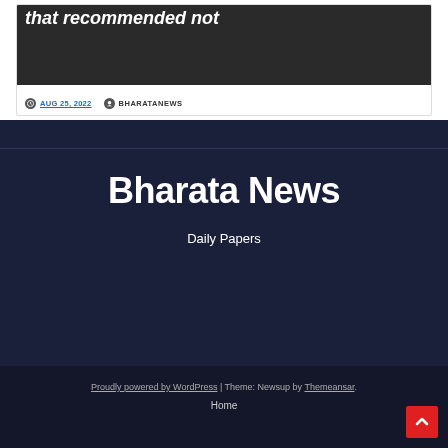[Figure (photo): News article card with dark background showing partial text 'that recommended not' in large bold white italic font, with a date AUG 25, 2022 and author BHARATANEWS below]
Bharata News
Daily Papers
Proudly powered by WordPress | Theme: Newsup by Themeansar. Home